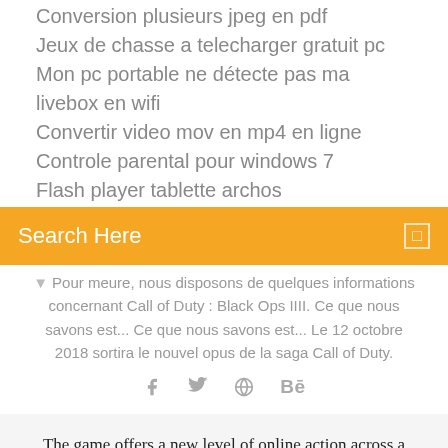Activer le wifi sur pc portable dell
Conversion plusieurs jpeg en pdf
Jeux de chasse a telecharger gratuit pc
Mon pc portable ne détecte pas ma livebox en wifi
Convertir video mov en mp4 en ligne
Controle parental pour windows 7
Flash player tablette archos
Search Here
Pour meure, nous disposons de quelques informations concernant Call of Duty : Black Ops IIII. Ce que nous savons est... Ce que nous savons est... Le 12 octobre 2018 sortira le nouvel opus de la saga Call of Duty.
The game offers a new level of online action across a variety of new weaponry, maps and modes. For the